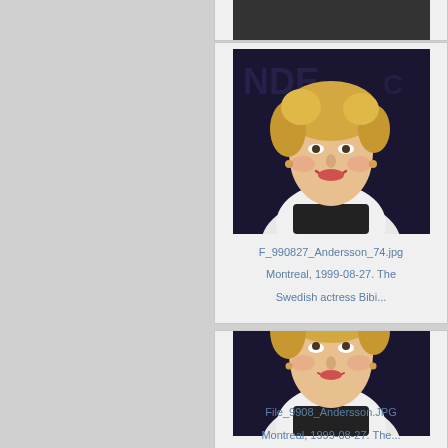[Figure (photo): Partial view of a card at the top of the page (cropped), showing background of a photo card.]
[Figure (photo): Photo of Swedish actress Bibi Andersson at Montreal, 1999-08-27. Blonde curly hair, smiling, wearing white jacket over black top with pearl necklace, against a dark backdrop with letters 'NDE'.]
F_990827_Andersson_74.jpg
Montreal, 1999-08-27. The Swedish actress Bibi...
[Figure (photo): Another photo of Swedish actress Bibi Andersson at Montreal, 1999-08-27. Blonde curly hair, looking slightly upward, wearing white jacket over black top with pearl necklace, against a dark backdrop with letters 'NDE FES'.]
File_9908_Andersson.JPG
Montreal, 1999-08-27. The...